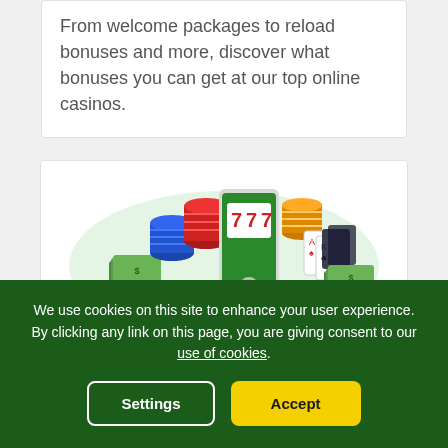From welcome packages to reload bonuses and more, discover what bonuses you can get at our top online casinos.
[Figure (illustration): Isometric illustration of online gambling — casino chips (red, blue, orange, gold, green), playing cards showing a flush, stacks of dollar bills, a mobile phone/tablet displaying a slot machine with 777, and a green roulette table.]
Online Gambling
We use cookies on this site to enhance your user experience. By clicking any link on this page, you are giving consent to our use of cookies.